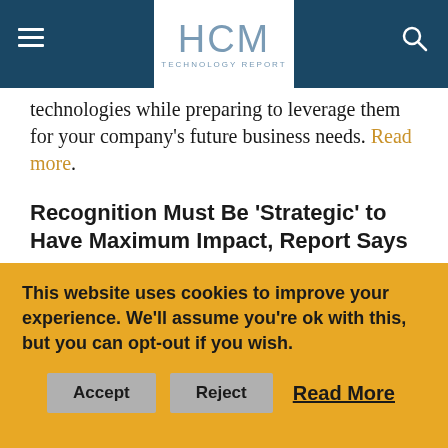HCM TECHNOLOGY REPORT
technologies while preparing to leverage them for your company's future business needs. Read more.
Recognition Must Be 'Strategic' to Have Maximum Impact, Report Says
While the idea of engagement has inspired a wave of HCM tech products over the last several years, many employers approach their efforts with a tactical mindset rather than a strategic one. That can limit the positive impact engagement can have on business results. Read
This website uses cookies to improve your experience. We'll assume you're ok with this, but you can opt-out if you wish. Accept Reject Read More